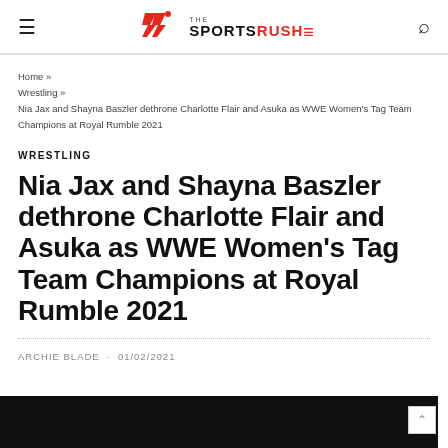The Sports Rush — site header with hamburger menu and search icon
Home » Wrestling » Nia Jax and Shayna Baszler dethrone Charlotte Flair and Asuka as WWE Women's Tag Team Champions at Royal Rumble 2021
WRESTLING
Nia Jax and Shayna Baszler dethrone Charlotte Flair and Asuka as WWE Women's Tag Team Champions at Royal Rumble 2021
ARCHIE BLADE · 01/02/2021
[Figure (photo): Dark/black image strip at the bottom of the page, partially visible article image]